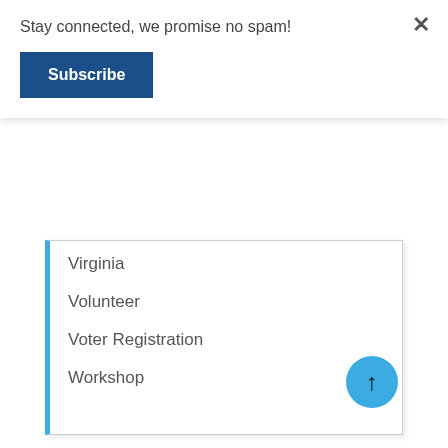Stay connected, we promise no spam!
Subscribe
Virginia
Volunteer
Voter Registration
Workshop
META
Log in
Entries feed
Comments feed